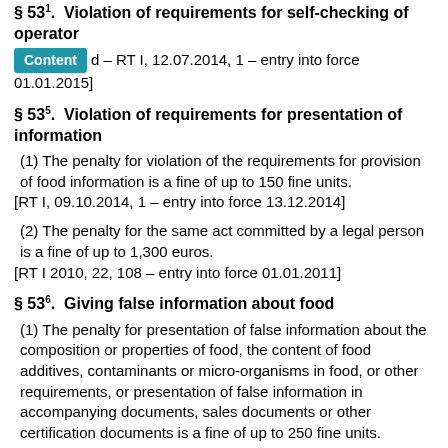§ 53¹. Violation of requirements for self-checking of operator
[added – RT I, 12.07.2014, 1 – entry into force 01.01.2015]
§ 53⁵. Violation of requirements for presentation of information
(1) The penalty for violation of the requirements for provision of food information is a fine of up to 150 fine units.
[RT I, 09.10.2014, 1 – entry into force 13.12.2014]
(2) The penalty for the same act committed by a legal person is a fine of up to 1,300 euros.
[RT I 2010, 22, 108 – entry into force 01.01.2011]
§ 53⁶. Giving false information about food
(1) The penalty for presentation of false information about the composition or properties of food, the content of food additives, contaminants or micro-organisms in food, or other requirements, or presentation of false information in accompanying documents, sales documents or other certification documents is a fine of up to 250 fine units.
[RT I 2006, 28, 211 – entry into force 01.07.2006]
(2) The penalty for the same act committed by a legal person is a